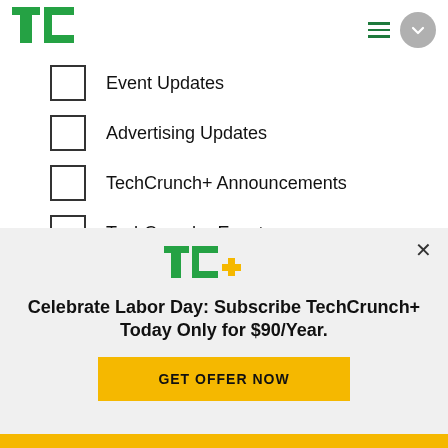[Figure (logo): TechCrunch TC logo in green]
Event Updates
Advertising Updates
TechCrunch+ Announcements
TechCrunch+ Events
TechCrunch+ Roundup
[Figure (logo): TC+ logo in green and gold]
Celebrate Labor Day: Subscribe TechCrunch+ Today Only for $90/Year.
GET OFFER NOW